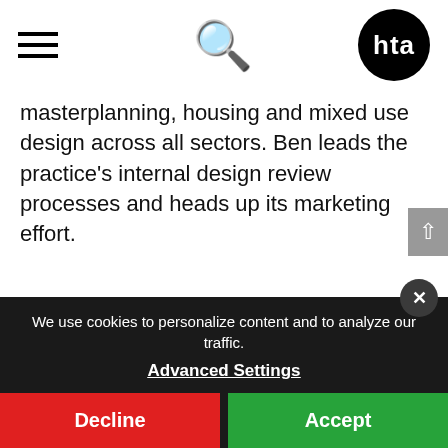HTA Design – navigation bar with hamburger menu, search icon, and HTA logo
masterplanning, housing and mixed use design across all sectors. Ben leads the practice's internal design review processes and heads up its marketing effort.
HTA Design LLP is a design consultancy to the home building industry specialising in Creative Collaboration between its multidisciplinary team, clients, communities and other professionals.
Ben Derbyshire is Immediate Past President of RIBA. He was elected onto Council in 2014, becoming President Elect in August 2016, and serving as
We use cookies to personalize content and to analyze our traffic. Advanced Settings
Decline
Accept